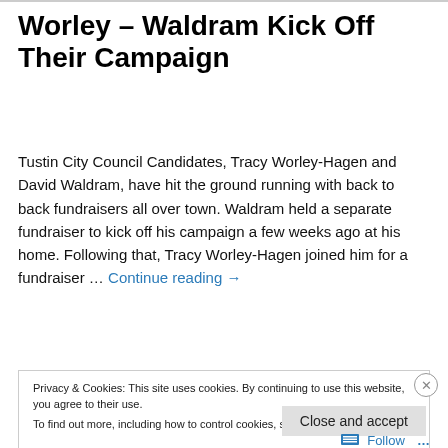Worley – Waldram Kick Off Their Campaign
Tustin City Council Candidates, Tracy Worley-Hagen and David Waldram, have hit the ground running with back to back fundraisers all over town. Waldram held a separate fundraiser to kick off his campaign a few weeks ago at his home. Following that, Tracy Worley-Hagen joined him for a fundraiser … Continue reading →
Privacy & Cookies: This site uses cookies. By continuing to use this website, you agree to their use. To find out more, including how to control cookies, see here: Cookie Policy
Close and accept
Follow …